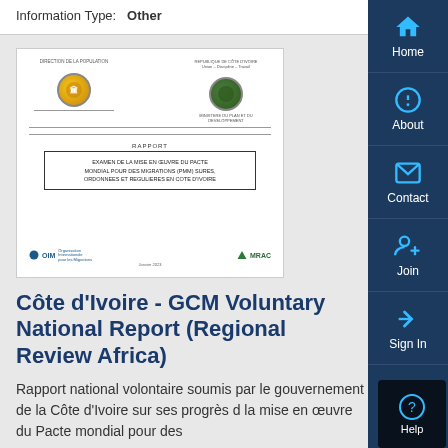Information Type:   Other
[Figure (screenshot): Cover page of a French-language report titled 'EXAMEN DE LA MISE EN OEUVRE DU PACTE MONDIAL POUR DES MIGRATIONS (PMM) SURES, ORDONNEES ET REGULIERES EN COTE D'IVOIRE', showing government logos and OIM/MRAC logos]
Côte d'Ivoire - GCM Voluntary National Report (Regional Review Africa)
Rapport national volontaire soumis par le gouvernement de la Côte d'Ivoire sur ses progrès dans la mise en œuvre du Pacte mondial pour des